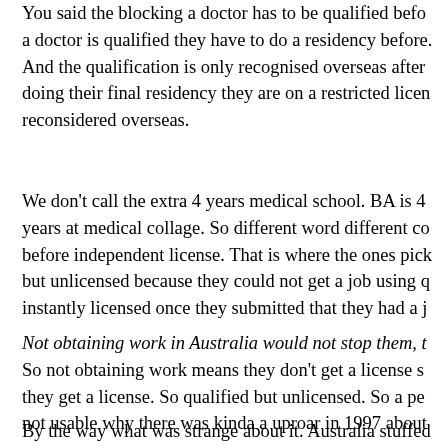You said the blocking a doctor has to be qualified before a doctor is qualified they have to do a residency before. And the qualification is only recognised overseas after doing their final residency they are on a restricted license reconsidered overseas.
We don't call the extra 4 years medical school. BA is 4 years at medical collage. So different word differentco before independent license. That is where the ones pick but unlicensed because they could not get a job using q instantly licensed once they submitted that they had a j
Not obtaining work in Australia would not stop them, t So not obtaining work means they don't get a license s they get a license. So qualified but unlicensed. So a pe not usable why there was kinda a uproar in 1997 about
By the way what was strange about it. Australia stuffed UK stuffed the numbers up in 1998 a year latter. So fro